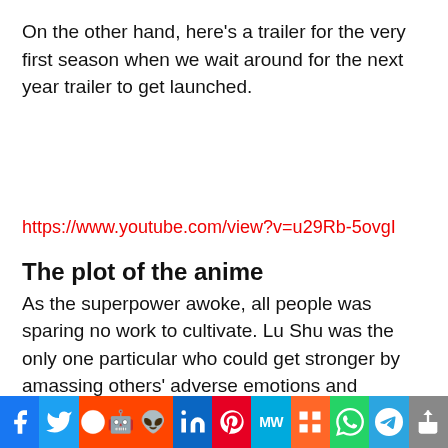On the other hand, here's a trailer for the very first season when we wait around for the next year trailer to get launched.
https://www.youtube.com/view?v=u29Rb-5ovgI
The plot of the anime
As the superpower awoke, all people was sparing no work to cultivate. Lu Shu was the only one particular who could get stronger by amassing others’ adverse emotions and contacting men and women names! All he ever wanted was to protect his minimal sister, but no a person could resist